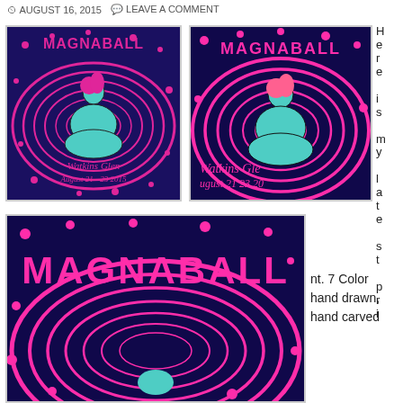AUGUST 16, 2015   LEAVE A COMMENT
[Figure (photo): Magnaball concert poster showing a meditating figure with psychedelic pink concentric circles on dark blue background, text: Watkins Glen August 21-23 2015]
[Figure (photo): Close-up of Magnaball poster under black light showing the meditating figure and Watkins Glen text glowing in neon pink]
[Figure (photo): Close-up of the top of the Magnaball poster showing the MAGNABALL text in neon pink with concentric circle patterns]
Here is my latest print. 7 Color hand drawn, hand carved